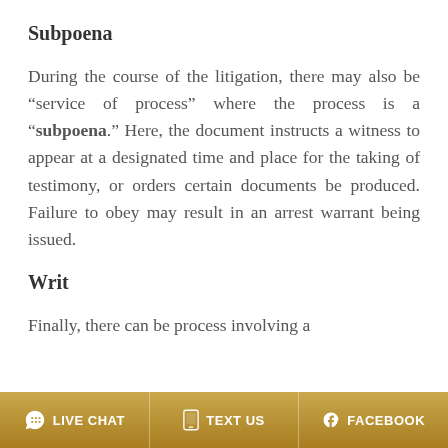Subpoena
During the course of the litigation, there may also be “service of process” where the process is a “subpoena.” Here, the document instructs a witness to appear at a designated time and place for the taking of testimony, or orders certain documents be produced. Failure to obey may result in an arrest warrant being issued.
Writ
Finally, there can be process involving a
LIVE CHAT   TEXT US   FACEBOOK